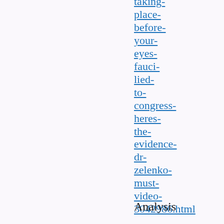taking-place-before-your-eyes-fauci-lied-to-congress-heres-the-evidence-dr-zelenko-must-video-3042986.html
Analysis